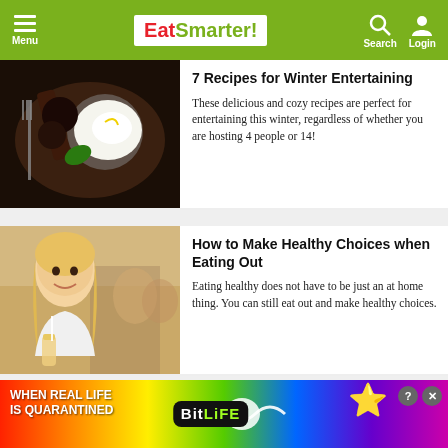Menu | EatSmarter! | Search | Login
7 Recipes for Winter Entertaining
These delicious and cozy recipes are perfect for entertaining this winter, regardless of whether you are hosting 4 people or 14!
[Figure (photo): Overhead photo of chocolate dessert with whipped cream and garnishes on a dark plate]
How to Make Healthy Choices when Eating Out
Eating healthy does not have to be just an at home thing. You can still eat out and make healthy choices.
[Figure (photo): Photo of a smiling woman at a restaurant holding a drink, people dining in background]
Are Cheat Days a Good Idea?
Have a hard time staying with your diet? ...there are our
[Figure (photo): Partial photo of hands/food related to cheat day concept]
[Figure (advertisement): BitLife mobile game advertisement with rainbow background, emoji character, text WHEN REAL LIFE IS QUARANTINED]